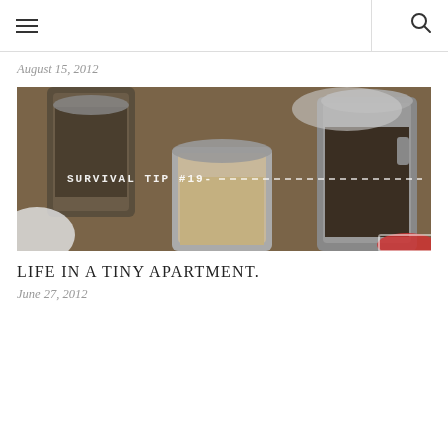navigation bar with hamburger menu and search icon
August 15, 2012
[Figure (photo): Close-up photo of glass mason jars filled with grains, seeds and dried beans on a wooden surface. Text overlay reads 'SURVIVAL TIP #19' with a dashed line.]
LIFE IN A TINY APARTMENT.
June 27, 2012